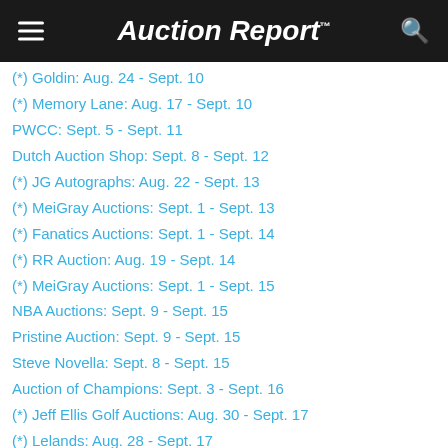Auction Report™
(*) Goldin: Aug. 24 - Sept. 10
(*) Memory Lane: Aug. 17 - Sept. 10
PWCC: Sept. 5 - Sept. 11
Dutch Auction Shop: Sept. 8 - Sept. 12
(*) JG Autographs: Aug. 22 - Sept. 13
(*) MeiGray Auctions: Sept. 1 - Sept. 13
(*) Fanatics Auctions: Sept. 1 - Sept. 14
(*) RR Auction: Aug. 19 - Sept. 14
(*) MeiGray Auctions: Sept. 1 - Sept. 15
NBA Auctions: Sept. 9 - Sept. 15
Pristine Auction: Sept. 9 - Sept. 15
Steve Novella: Sept. 8 - Sept. 15
Auction of Champions: Sept. 3 - Sept. 16
(*) Jeff Ellis Golf Auctions: Aug. 30 - Sept. 17
(*) Lelands: Aug. 28 - Sept. 17
(*) Golden Age Golf Auctions: Aug. 31 - Sept. 18
PWCC: Sept. 12 - Sept. 18
REA: Sept. 8 - Sept. 18
(*) Classic Auctions: Aug. 26 - Sept. 20
(*) MeiGray Auctions: Sept. 1 - Sept. 21
University Archives: Sept. 6 - Sept. 21
NBA Auctions: Sept. 16 - Sept. 22
Pristine Auction: Sept. 16 - Sept. 22